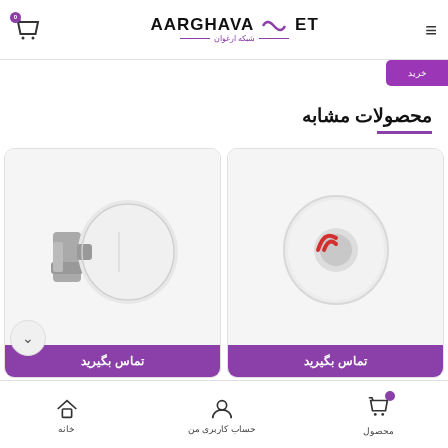AARGHAVA NET - شبکه ارغوان
محصولات مشابه
[Figure (photo): White circular wireless antenna/access point device (MikroTik SXT or similar) with mounting bracket, left product card]
تماس بگیرید
[Figure (photo): White circular wireless antenna/access point device with red MikroTik logo, right product card]
تماس بگیرید
محصول | حساب کاربری من | خانه